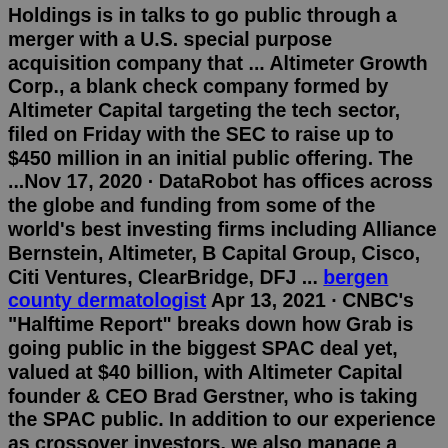Holdings is in talks to go public through a merger with a U.S. special purpose acquisition company that ... Altimeter Growth Corp., a blank check company formed by Altimeter Capital targeting the tech sector, filed on Friday with the SEC to raise up to $450 million in an initial public offering. The ...Nov 17, 2020 · DataRobot has offices across the globe and funding from some of the world's best investing firms including Alliance Bernstein, Altimeter, B Capital Group, Cisco, Citi Ventures, ClearBridge, DFJ ... bergen county dermatologist Apr 13, 2021 · CNBC's "Halftime Report" breaks down how Grab is going public in the biggest SPAC deal yet, valued at $40 billion, with Altimeter Capital founder & CEO Brad Gerstner, who is taking the SPAC public. In addition to our experience as crossover investors, we also manage a vertically integrated capital markets platform to support companies through their IPO-- whether via a bank-led IPO, a direct listing, or an Altimeter Founder's IPO (via an Altimeter Growth SPAC). We pride ourselves on being long-term